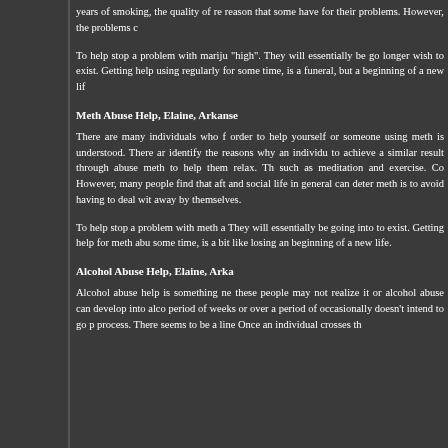years of smoking, the quality of re reason that some have for their problems. However, the problems
To help stop a problem with mariju "high". They will essentially be go longer wish to exist. Getting help using regularly for some time, is a funeral, but a beginning of a new li
Meth Abuse Help, Elaine, Arkanse
There are many individuals who order to help yourself or someone using meth is understood. There a identify the reasons why an individ to achieve a similar result through abuse meth to help them relax. T such as meditation and exercise. C However, many people find that af and social life in general can dete meth is to avoid having to deal wi away by themselves.
To help stop a problem with meth a They will essentially be going into to exist. Getting help for meth abu some time, is a bit like losing an beginning of a new life.
Alcohol Abuse Help, Elaine, Arka
Alcohol abuse help is something ne these people may not realize it or alcohol abuse can develop into alc period of weeks or over a period o occasionally doesn't intend to go process. There seems to be a line Once an individual crosses th